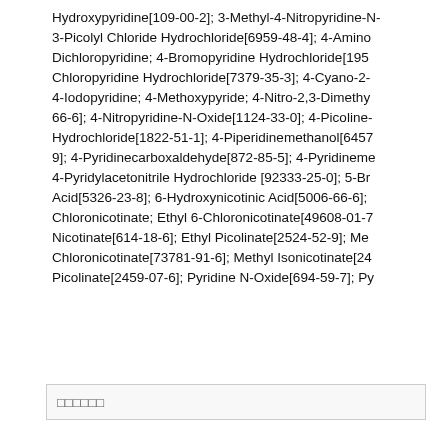Hydroxypyridine[109-00-2]; 3-Methyl-4-Nitropyridine-N- 3-Picolyl Chloride Hydrochloride[6959-48-4]; 4-Amino Dichloropyridine; 4-Bromopyridine Hydrochloride[195 Chloropyridine Hydrochloride[7379-35-3]; 4-Cyano-2- 4-Iodopyridine; 4-Methoxypyride; 4-Nitro-2,3-Dimet hy 66-6]; 4-Nitropyridine-N-Oxide[1124-33-0]; 4-Picoline- Hydrochloride[1822-51-1]; 4-Piperidinemethanol[6457 9]; 4-Pyridinecarboxaldehyde[872-85-5]; 4-Pyridineme 4-Pyridylacetonitrile Hydrochloride [92333-25-0]; 5-Br Acid[5326-23-8]; 6-Hydroxynicotinic Acid[5006-66-6]; Chloronicotinate; Ethyl 6-Chloronicotinate[49608-01-7 Nicotinate[614-18-6]; Ethyl Picolinate[2524-52-9]; Me Chloronicotinate[73781-91-6]; Methyl Isonicotinate[24 Picolinate[2459-07-6]; Pyridine N-Oxide[694-59-7]; Py
□□□□□□